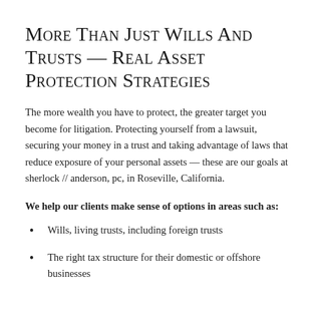More Than Just Wills And Trusts — Real Asset Protection Strategies
The more wealth you have to protect, the greater target you become for litigation. Protecting yourself from a lawsuit, securing your money in a trust and taking advantage of laws that reduce exposure of your personal assets — these are our goals at sherlock // anderson, pc, in Roseville, California.
We help our clients make sense of options in areas such as:
Wills, living trusts, including foreign trusts
The right tax structure for their domestic or offshore businesses